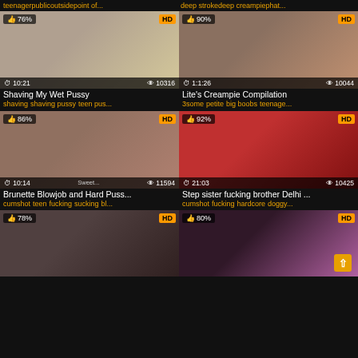teenager public outside point of... | deep stroke deep creampie phat...
[Figure (screenshot): Video thumbnail: Shaving My Wet Pussy, 76%, HD, duration 10:21, views 10316]
Shaving My Wet Pussy
shaving shaving pussy teen pus...
[Figure (screenshot): Video thumbnail: Lite's Creampie Compilation, 90%, HD, duration 1:1:26, views 10044]
Lite's Creampie Compilation
3some petite big boobs teenage...
[Figure (screenshot): Video thumbnail: Brunette Blowjob and Hard Puss..., 86%, HD, duration 10:14, views 11594]
Brunette Blowjob and Hard Puss...
cumshot teen fucking sucking bl...
[Figure (screenshot): Video thumbnail: Step sister fucking brother Delhi ..., 92%, HD, duration 21:03, views 10425]
Step sister fucking brother Delhi ...
cumshot fucking hardcore doggy...
[Figure (screenshot): Video thumbnail (partial): 78%, HD]
[Figure (screenshot): Video thumbnail (partial): 80%, HD, with scroll-to-top button]